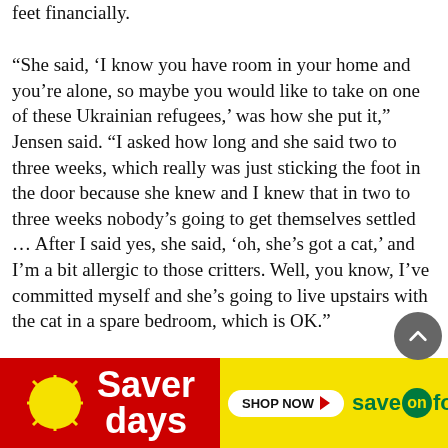feet financially.
“She said, ‘I know you have room in your home and you’re alone, so maybe you would like to take on one of these Ukrainian refugees,’ was how she put it,” Jensen said. “I asked how long and she said two to three weeks, which really was just sticking the foot in the door because she knew and I knew that in two to three weeks nobody’s going to get themselves settled … After I said yes, she said, ‘oh, she’s got a cat,’ and I’m a bit allergic to those critters. Well, you know, I’ve committed myself and she’s going to live upstairs with the cat in a spare bedroom, which is OK.”
Vanzhura and Jensen have since extended the arrangement until the end of June when she can start paying a small
[Figure (other): Saver Days advertisement banner for Save On Foods with red and yellow background, Shop Now button]